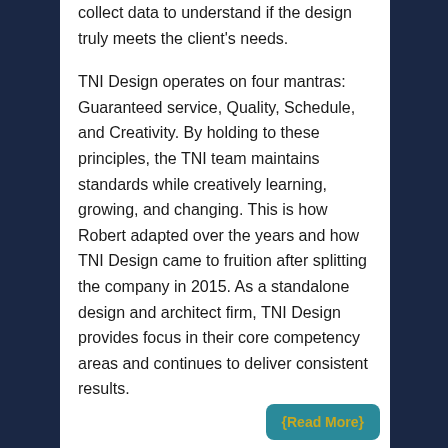collect data to understand if the design truly meets the client's needs.
TNI Design operates on four mantras: Guaranteed service, Quality, Schedule, and Creativity. By holding to these principles, the TNI team maintains standards while creatively learning, growing, and changing. This is how Robert adapted over the years and how TNI Design came to fruition after splitting the company in 2015. As a standalone design and architect firm, TNI Design provides focus in their core competency areas and continues to deliver consistent results.